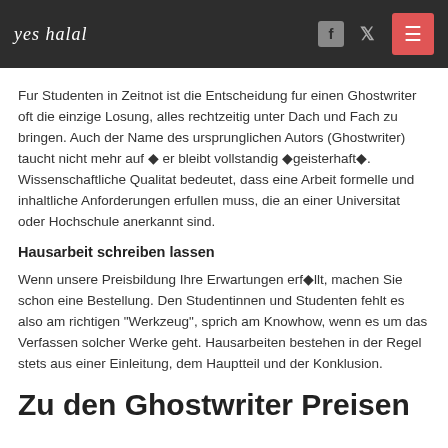yes halal
Fur Studenten in Zeitnot ist die Entscheidung fur einen Ghostwriter oft die einzige Losung, alles rechtzeitig unter Dach und Fach zu bringen. Auch der Name des ursprunglichen Autors (Ghostwriter) taucht nicht mehr auf ◆ er bleibt vollstandig ◆geisterhaft◆. Wissenschaftliche Qualitat bedeutet, dass eine Arbeit formelle und inhaltliche Anforderungen erfullen muss, die an einer Universitat oder Hochschule anerkannt sind.
Hausarbeit schreiben lassen
Wenn unsere Preisbildung Ihre Erwartungen erf◆llt, machen Sie schon eine Bestellung. Den Studentinnen und Studenten fehlt es also am richtigen "Werkzeug", sprich am Knowhow, wenn es um das Verfassen solcher Werke geht. Hausarbeiten bestehen in der Regel stets aus einer Einleitung, dem Hauptteil und der Konklusion.
Zu den Ghostwriter Preisen